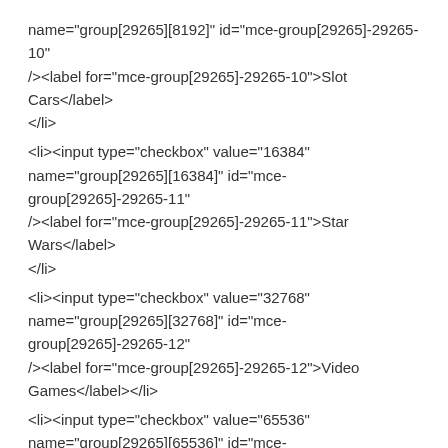name="group[29265][8192]" id="mce-group[29265]-29265-10" /><label for="mce-group[29265]-29265-10">Slot Cars</label></li>
<li><input type="checkbox" value="16384" name="group[29265][16384]" id="mce-group[29265]-29265-11" /><label for="mce-group[29265]-29265-11">Star Wars</label></li>
<li><input type="checkbox" value="32768" name="group[29265][32768]" id="mce-group[29265]-29265-12" /><label for="mce-group[29265]-29265-12">Video Games</label></li>
<li><input type="checkbox" value="65536" name="group[29265][65536]" id="mce-group[29265]-29265-13" /><label for="mce-group[29265]-29265-13">Records, CDs, DVDs,</label></li>
<li><input type="checkbox" value="131072" name="group[29265][131072]" id="mce-group[29265]-29265-